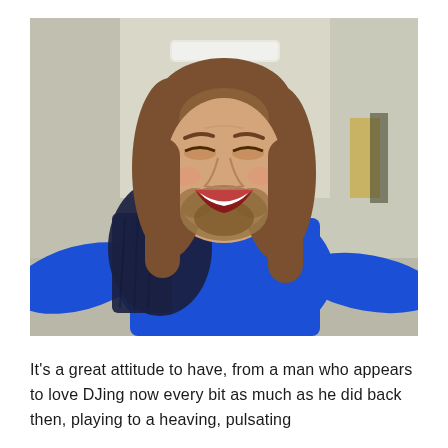[Figure (photo): A man with long brown hair and a beard, wearing a blue t-shirt with a dark navy jacket draped over one shoulder, laughing joyfully with his arms spread wide in a corridor or hallway with blurred background.]
It's a great attitude to have, from a man who appears to love DJing now every bit as much as he did back then, playing to a heaving, pulsating